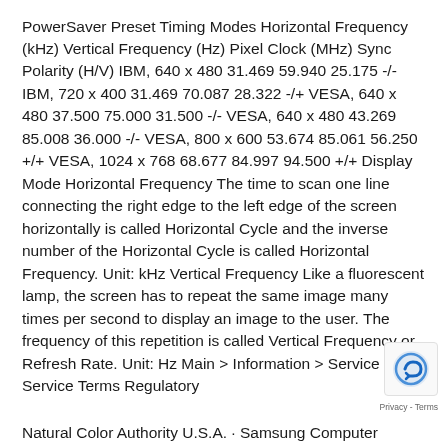PowerSaver Preset Timing Modes Horizontal Frequency (kHz) Vertical Frequency (Hz) Pixel Clock (MHz) Sync Polarity (H/V) IBM, 640 x 480 31.469 59.940 25.175 -/- IBM, 720 x 400 31.469 70.087 28.322 -/+ VESA, 640 x 480 37.500 75.000 31.500 -/- VESA, 640 x 480 43.269 85.008 36.000 -/- VESA, 800 x 600 53.674 85.061 56.250 +/+ VESA, 1024 x 768 68.677 84.997 94.500 +/+ Display Mode Horizontal Frequency The time to scan one line connecting the right edge to the left edge of the screen horizontally is called Horizontal Cycle and the inverse number of the Horizontal Cycle is called Horizontal Frequency. Unit: kHz Vertical Frequency Like a fluorescent lamp, the screen has to repeat the same image many times per second to display an image to the user. The frequency of this repetition is called Vertical Frequency or Refresh Rate. Unit: Hz Main > Information > Service Service Terms Regulatory Natural Color Authority U.S.A. · Samsung Computer